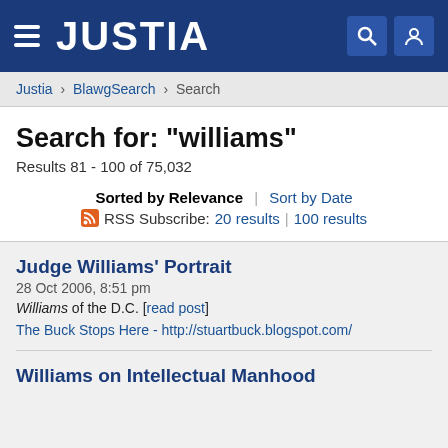JUSTIA
Justia › BlawgSearch › Search
Search for: "williams"
Results 81 - 100 of 75,032
Sorted by Relevance | Sort by Date
RSS Subscribe: 20 results | 100 results
Judge Williams' Portrait
28 Oct 2006, 8:51 pm
Williams of the D.C. [read post]
The Buck Stops Here - http://stuartbuck.blogspot.com/
Williams on Intellectual Manhood